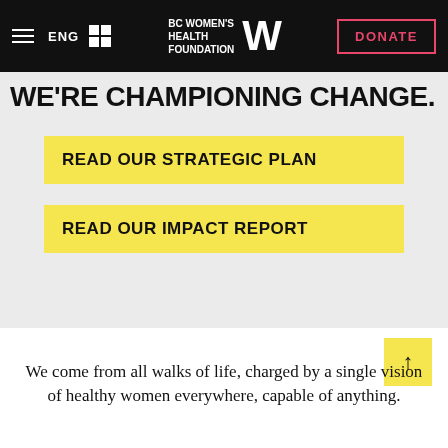ENG | BC Women's Health Foundation | DONATE
WE'RE CHAMPIONING CHANGE.
READ OUR STRATEGIC PLAN
READ OUR IMPACT REPORT
We come from all walks of life, charged by a single vision of healthy women everywhere, capable of anything.